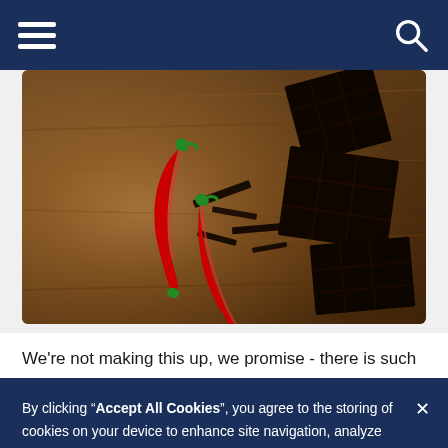Navigation bar with hamburger menu and search icon
[Figure (photo): Photo of red chili peppers on broken dark chocolate pieces on a wooden background]
We're not making this up, we promise - there is such an
By clicking “Accept All Cookies”, you agree to the storing of cookies on your device to enhance site navigation, analyze site usage, and assist in our marketing efforts.
Cookies Settings
Accept All Cookies